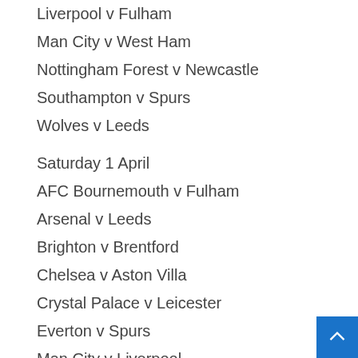Liverpool v Fulham
Man City v West Ham
Nottingham Forest v Newcastle
Southampton v Spurs
Wolves v Leeds
Saturday 1 April
AFC Bournemouth v Fulham
Arsenal v Leeds
Brighton v Brentford
Chelsea v Aston Villa
Crystal Palace v Leicester
Everton v Spurs
Man City v Liverpool
Newcastle v Man Utd
Nottingham Forest v Wolves